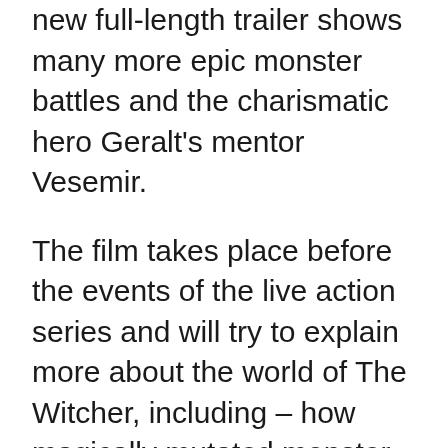new full-length trailer shows many more epic monster battles and the charismatic hero Geralt's mentor Vesemir.
The film takes place before the events of the live action series and will try to explain more about the world of The Witcher, including – how magically mutated monster hunters arise. It will also provide a handy story about Vesemir, who is set to appear in the show's upcoming season two, coming in December.
The new anime spinoff trailer also shows a lot more of The Witcher's expanded universe, and some rather impressive-looking combat scenes